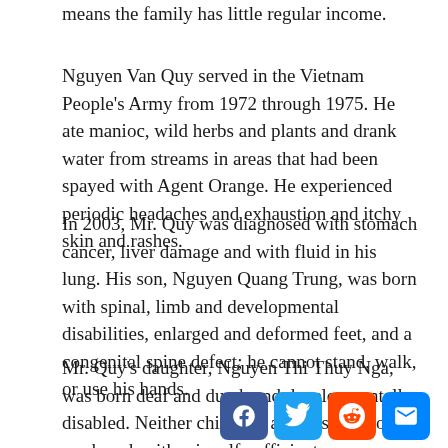means the family has little regular income.
Nguyen Van Quy served in the Vietnam People's Army from 1972 through 1975. He ate manioc, wild herbs and plants and drank water from streams in areas that had been spayed with Agent Orange. He experienced periodic headaches and exhaustion and itchy skin and rashes.
In 2003, Mr. Quy was diagnosed with stomach cancer, liver damage and with fluid in his lung. His son, Nguyen Quang Trung, was born with spinal, limb and developmental disabilities, enlarged and deformed feet, and a congenital spine defect; he cannot stand, walk, or use his hands.
Mr. Quy's daughter, Nguyen Thi Thuy Nga, was born deaf and dumb and developmentally disabled. Neither child can attend school or work and neither is self-sufficient.